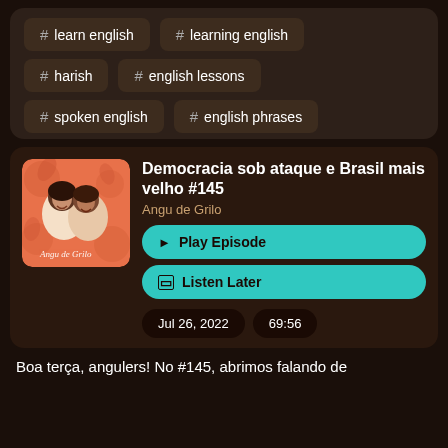# learn english
# learning english
# harish
# english lessons
# spoken english
# english phrases
Democracia sob ataque e Brasil mais velho #145
Angu de Grilo
▶ Play Episode
🔖 Listen Later
Jul 26, 2022
69:56
Boa terça, angulers! No #145, abrimos falando de